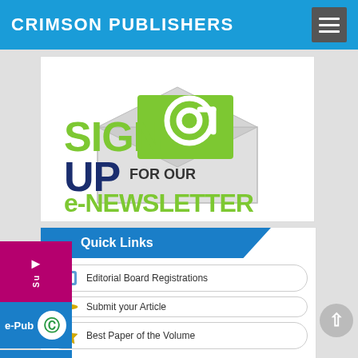CRIMSON PUBLISHERS
[Figure (illustration): Sign up for our e-Newsletter promotional graphic with envelope and @ symbol]
[Figure (infographic): Quick Links section with Editorial Board Registrations, Submit your Article, and Best Paper of the Volume buttons]
Quick Links
Editorial Board Registrations
Submit your Article
Best Paper of the Volume